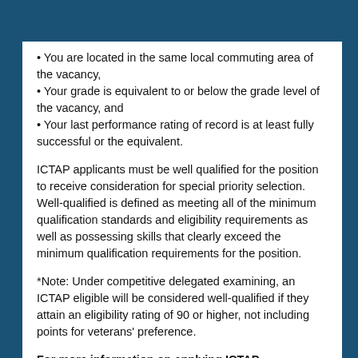• You are located in the same local commuting area of the vacancy,
• Your grade is equivalent to or below the grade level of the vacancy, and
• Your last performance rating of record is at least fully successful or the equivalent.
ICTAP applicants must be well qualified for the position to receive consideration for special priority selection. Well-qualified is defined as meeting all of the minimum qualification standards and eligibility requirements as well as possessing skills that clearly exceed the minimum qualification requirements for the position.
*Note: Under competitive delegated examining, an ICTAP eligible will be considered well-qualified if they attain an eligibility rating of 90 or higher, not including points for veterans' preference.
For more information on applying ICTAP